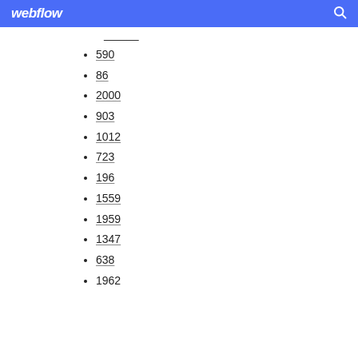webflow
590
86
2000
903
1012
723
196
1559
1959
1347
638
1962